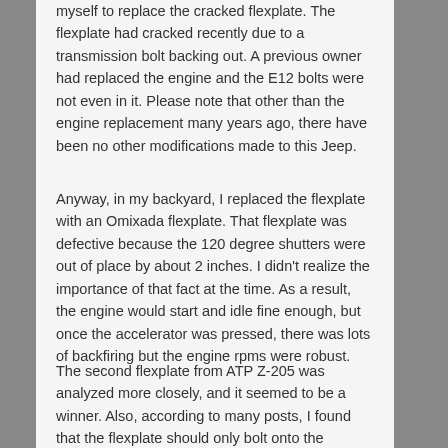myself to replace the cracked flexplate. The flexplate had cracked recently due to a transmission bolt backing out. A previous owner had replaced the engine and the E12 bolts were not even in it. Please note that other than the engine replacement many years ago, there have been no other modifications made to this Jeep.
Anyway, in my backyard, I replaced the flexplate with an Omixada flexplate. That flexplate was defective because the 120 degree shutters were out of place by about 2 inches. I didn't realize the importance of that fact at the time. As a result, the engine would start and idle fine enough, but once the accelerator was pressed, there was lots of backfiring but the engine rpms were robust.
The second flexplate from ATP Z-205 was analyzed more closely, and it seemed to be a winner. Also, according to many posts, I found that the flexplate should only bolt onto the crankshaft one way. However, this one starts